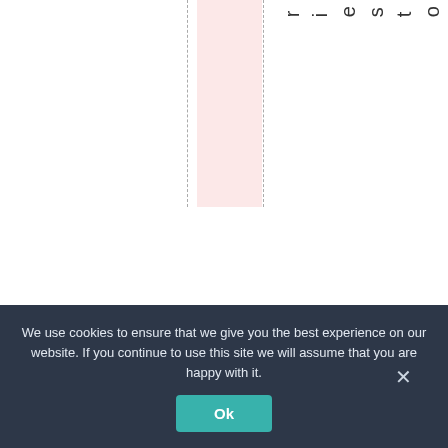[Figure (other): Webpage layout fragment showing vertical dashed column guide lines, a pink highlighted column, and vertical rotated text reading 'riestorepealit. El']
We use cookies to ensure that we give you the best experience on our website. If you continue to use this site we will assume that you are happy with it.
Ok